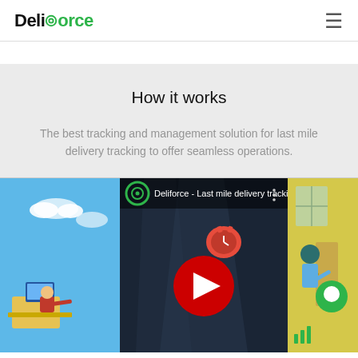Deliforce
How it works
The best tracking and management solution for last mile delivery tracking to offer seamless operations.
[Figure (screenshot): YouTube video embed thumbnail showing Deliforce - Last mile delivery trackin... with play button and video preview frames]